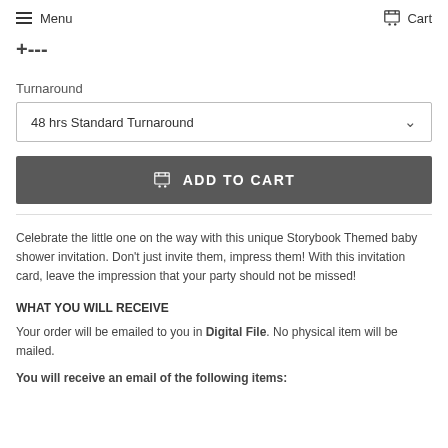Menu   Cart
+--
Turnaround
48 hrs Standard Turnaround
ADD TO CART
Celebrate the little one on the way with this unique Storybook Themed baby shower invitation. Don't just invite them, impress them! With this invitation card, leave the impression that your party should not be missed!
WHAT YOU WILL RECEIVE
Your order will be emailed to you in Digital File. No physical item will be mailed.
You will receive an email of the following items: